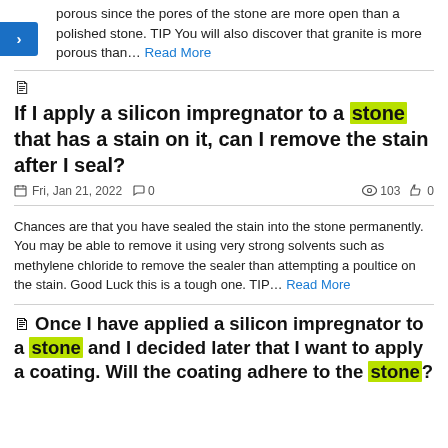porous since the pores of the stone are more open than a polished stone. TIP You will also discover that granite is more porous than… Read More
If I apply a silicon impregnator to a stone that has a stain on it, can I remove the stain after I seal?
Fri, Jan 21, 2022  0  103  0
Chances are that you have sealed the stain into the stone permanently. You may be able to remove it using very strong solvents such as methylene chloride to remove the sealer than attempting a poultice on the stain. Good Luck this is a tough one. TIP… Read More
Once I have applied a silicon impregnator to a stone and I decided later that I want to apply a coating. Will the coating adhere to the stone?